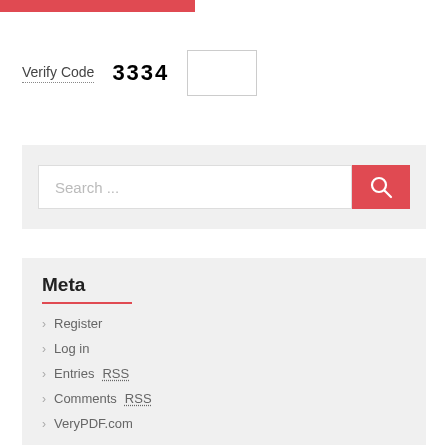[Figure (other): Red/pink horizontal bar at top of page]
Verify Code  3334  [input box]
[Figure (other): Search bar with placeholder 'Search ...' and red search button with magnifying glass icon]
Meta
Register
Log in
Entries RSS
Comments RSS
VeryPDF.com